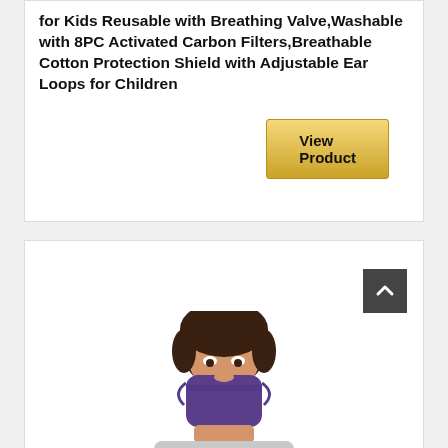for Kids Reusable with Breathing Valve,Washable with 8PC Activated Carbon Filters,Breathable Cotton Protection Shield with Adjustable Ear Loops for Children
[Figure (other): Golden 'View Product' button in bottom-right of top card]
[Figure (photo): Child wearing a purple face mask, shown from shoulders up, with dark hair, in the bottom card section. A dark scroll-to-top arrow button is visible in the top-right corner of the card.]